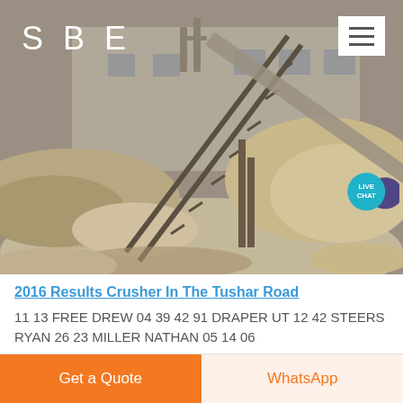[Figure (photo): Quarry/crusher facility with conveyor belt and piles of aggregate/crushed stone, industrial building in background. SBE logo top-left, hamburger menu top-right, live chat bubble bottom-right.]
2016 Results Crusher In The Tushar Road
11 13 FREE DREW 04 39 42 91 DRAPER UT 12 42 STEERS RYAN 26 23 MILLER NATHAN 05 14 06
Get a Quote
WhatsApp